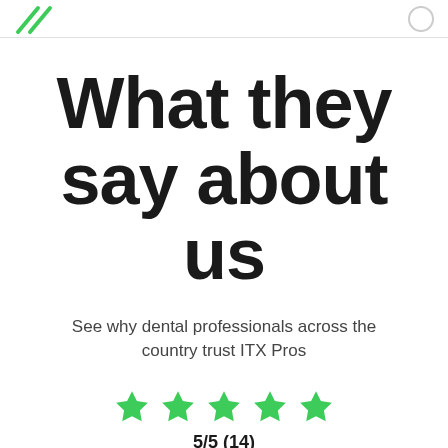ITX Pros logo and navigation icon
What they say about us
See why dental professionals across the country trust ITX Pros
[Figure (other): Five green star rating icons in a row]
5/5 (14)